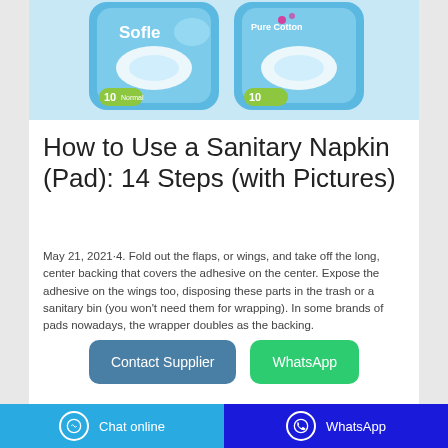[Figure (photo): Two packages of sanitary napkins/pads shown against a light blue background. Left package shows 'Soften' brand with 10 pcs normal, right package shows a brand with 'Pure Cotton' label with 10 pcs.]
How to Use a Sanitary Napkin (Pad): 14 Steps (with Pictures)
May 21, 2021·4. Fold out the flaps, or wings, and take off the long, center backing that covers the adhesive on the center. Expose the adhesive on the wings too, disposing these parts in the trash or a sanitary bin (you won't need them for wrapping). In some brands of pads nowadays, the wrapper doubles as the backing.
Contact Supplier
WhatsApp
Chat online | WhatsApp